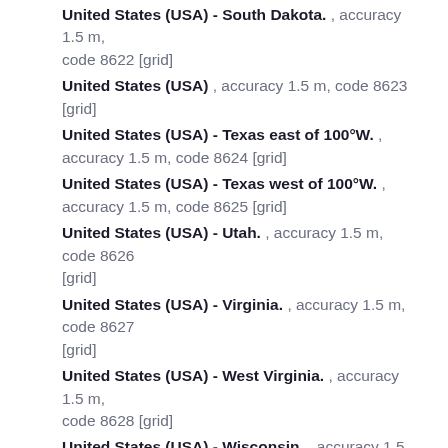United States (USA) - South Dakota. , accuracy 1.5 m, code 8622 [grid]
United States (USA) , accuracy 1.5 m, code 8623 [grid]
United States (USA) - Texas east of 100°W. , accuracy 1.5 m, code 8624 [grid]
United States (USA) - Texas west of 100°W. , accuracy 1.5 m, code 8625 [grid]
United States (USA) - Utah. , accuracy 1.5 m, code 8626 [grid]
United States (USA) - Virginia. , accuracy 1.5 m, code 8627 [grid]
United States (USA) - West Virginia. , accuracy 1.5 m, code 8628 [grid]
United States (USA) - Wisconsin. , accuracy 1.5 m, code 8629 [grid]
United States (USA) - Wyoming. , accuracy 1.5 m,